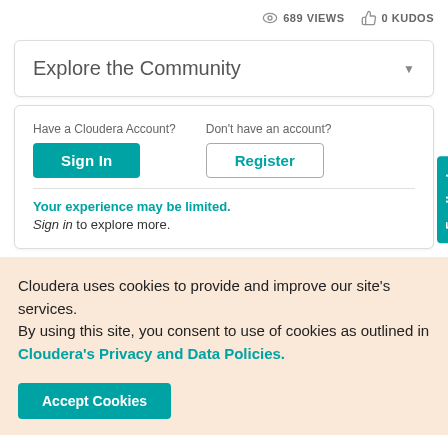689 VIEWS  0 KUDOS
Explore the Community
Have a Cloudera Account?  Don't have an account?
Sign In  Register
Your experience may be limited. Sign in to explore more.
Cloudera uses cookies to provide and improve our site's services. By using this site, you consent to use of cookies as outlined in Cloudera's Privacy and Data Policies.
Accept Cookies